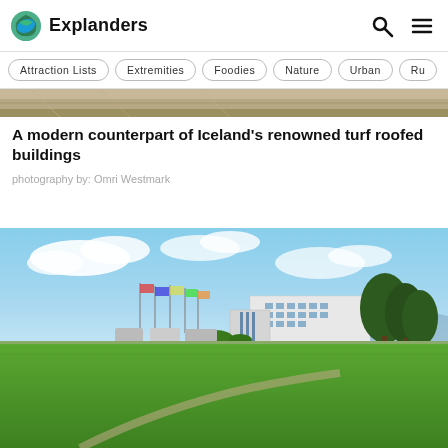Explanders
[Figure (screenshot): Top navigation bar with Explanders logo and menu items: Attraction Lists, Extremities, Foodies, Nature, Urban, Ru...]
[Figure (photo): Partial top strip of a landscape/building photo]
A modern counterpart of Iceland’s renowned turf roofed buildings
photography by: Omri Westmark
[Figure (photo): Outdoor photo of a modern white building complex with large green lawn in the foreground, flags, trees, and blue sky with clouds]